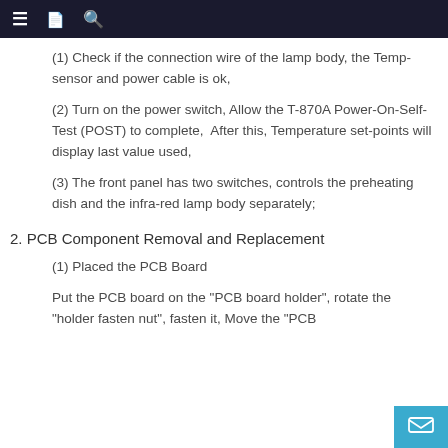≡  📄  🔍
(1) Check if the connection wire of the lamp body, the Temp-sensor and power cable is ok,
(2) Turn on the power switch, Allow the T-870A Power-On-Self-Test (POST) to complete,  After this, Temperature set-points will display last value used,
(3) The front panel has two switches, controls the preheating dish and the infra-red lamp body separately;
2. PCB Component Removal and Replacement
(1) Placed the PCB Board
Put the PCB board on the "PCB board holder", rotate the "holder fasten nut", fasten it, Move the "PCB